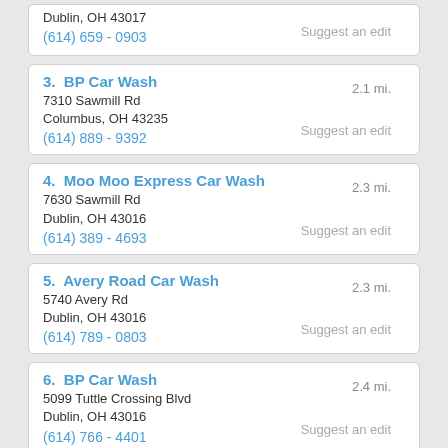Dublin, OH 43017
(614) 659 - 0903
Suggest an edit
3. BP Car Wash
7310 Sawmill Rd
Columbus, OH 43235
(614) 889 - 9392
2.1 mi.
Suggest an edit
4. Moo Moo Express Car Wash
7630 Sawmill Rd
Dublin, OH 43016
(614) 389 - 4693
2.3 mi.
Suggest an edit
5. Avery Road Car Wash
5740 Avery Rd
Dublin, OH 43016
(614) 789 - 0803
2.3 mi.
Suggest an edit
6. BP Car Wash
5099 Tuttle Crossing Blvd
Dublin, OH 43016
(614) 766 - 4401
2.4 mi.
Suggest an edit
7. Capital City Carwash
2780 Tuller Pkwy
Dublin, OH 43017
(614) 791 - 8600
2.5 mi.
Suggest an edit